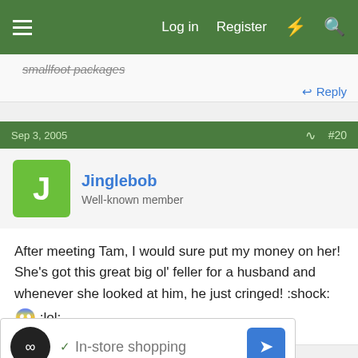Log in  Register
smallfoot packages
Reply
Sep 3, 2005  #20
Jinglebob
Well-known member
After meeting Tam, I would sure put my money on her! She's got this great big ol' feller for a husband and whenever she looked at him, he just cringed! :shock: 😱 :lol:
[Figure (screenshot): Advertisement showing logo, checkmark, 'In-store shopping' text and a blue navigation icon]